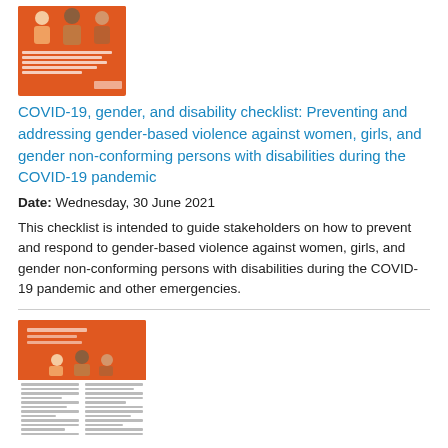[Figure (illustration): Thumbnail image of an orange document cover with illustrated figures of people and text, showing the COVID-19 gender and disability checklist publication cover.]
COVID-19, gender, and disability checklist: Preventing and addressing gender-based violence against women, girls, and gender non-conforming persons with disabilities during the COVID-19 pandemic
Date: Wednesday, 30 June 2021
This checklist is intended to guide stakeholders on how to prevent and respond to gender-based violence against women, girls, and gender non-conforming persons with disabilities during the COVID-19 pandemic and other emergencies.
[Figure (illustration): Thumbnail image of an orange document cover with illustrated figures and two-column body text, showing a publication about women, girls, and gender non-conforming people with disabilities.]
Women, girls, and gender non-conforming people with disabilities: